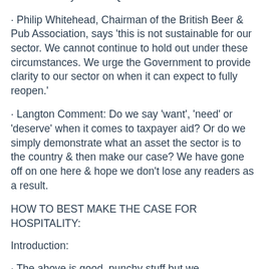Lockdown. Vol. beer sales in the on-trade were down by 27% in Q3.
Philip Whitehead, Chairman of the British Beer & Pub Association, says 'this is not sustainable for our sector. We cannot continue to hold out under these circumstances. We urge the Government to provide clarity to our sector on when it can expect to fully reopen.'
Langton Comment: Do we say 'want', 'need' or 'deserve' when it comes to taxpayer aid? Or do we simply demonstrate what an asset the sector is to the country & then make our case? We have gone off on one here & hope we don't lose any readers as a result.
HOW TO BEST MAKE THE CASE FOR HOSPITALITY:
Introduction:
The above is good, punchy stuff but we